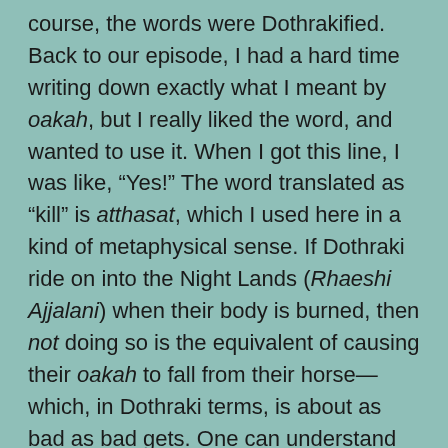course, the words were Dothrakified. Back to our episode, I had a hard time writing down exactly what I meant by oakah, but I really liked the word, and wanted to use it. When I got this line, I was like, “Yes!” The word translated as “kill” is atthasat, which I used here in a kind of metaphysical sense. If Dothraki ride on into the Night Lands (Rhaeshi Ajjalani) when their body is burned, then not doing so is the equivalent of causing their oakah to fall from their horse—which, in Dothraki terms, is about as bad as bad gets. One can understand why Irri is broken up. Returning to the show...